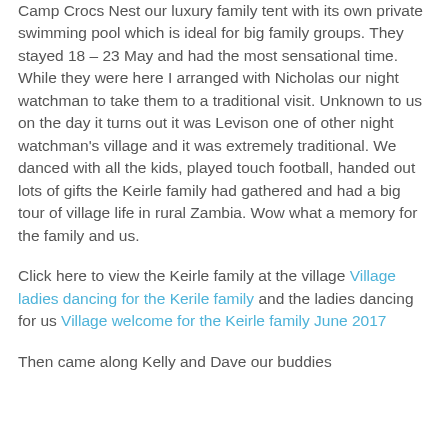Camp Crocs Nest our luxury family tent with its own private swimming pool which is ideal for big family groups. They stayed 18 – 23 May and had the most sensational time. While they were here I arranged with Nicholas our night watchman to take them to a traditional visit. Unknown to us on the day it turns out it was Levison one of other night watchman's village and it was extremely traditional. We danced with all the kids, played touch football, handed out lots of gifts the Keirle family had gathered and had a big tour of village life in rural Zambia. Wow what a memory for the family and us.
Click here to view the Keirle family at the village Village ladies dancing for the Kerile family and the ladies dancing for us Village welcome for the Keirle family June 2017
Then came along Kelly and Dave our buddies